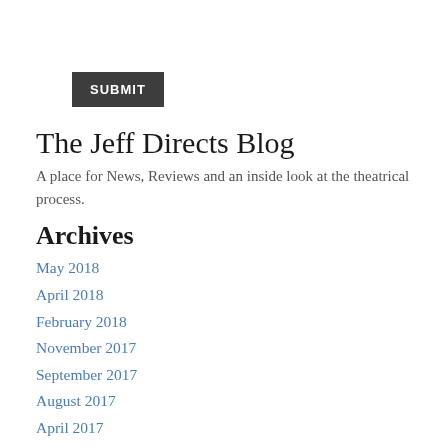SUBMIT
The Jeff Directs Blog
A place for News, Reviews and an inside look at the theatrical process.
Archives
May 2018
April 2018
February 2018
November 2017
September 2017
August 2017
April 2017
February 2017
November 2016
November 2015
June 2015